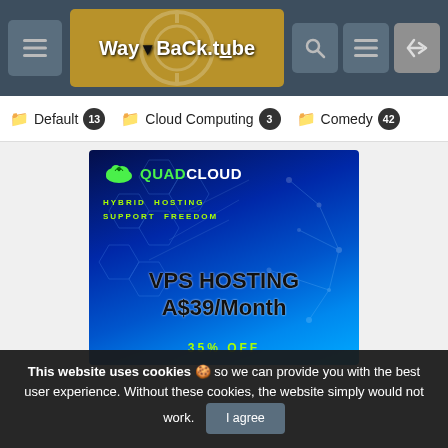WayBack.tube site header with navigation buttons and logo
Default 13
Cloud Computing 3
Comedy 42
[Figure (illustration): QuadCloud advertisement banner showing VPS Hosting A$39/Month with 35% OFF on a blue hexagonal network background]
This website uses cookies 🍪 so we can provide you with the best user experience. Without these cookies, the website simply would not work. I agree